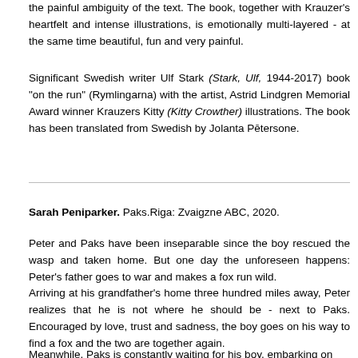the painful ambiguity of the text. The book, together with Krauzer's heartfelt and intense illustrations, is emotionally multi-layered - at the same time beautiful, fun and very painful.
Significant Swedish writer Ulf Stark (Stark, Ulf, 1944-2017) book "on the run" (Rymlingarna) with the artist, Astrid Lindgren Memorial Award winner Krauzers Kitty (Kitty Crowther) illustrations. The book has been translated from Swedish by Jolanta Pētersone.
Sarah Peniparker. Paks.Riga: Zvaigzne ABC, 2020.
Peter and Paks have been inseparable since the boy rescued the wasp and taken home. But one day the unforeseen happens: Peter's father goes to war and makes a fox run wild.
Arriving at his grandfather's home three hundred miles away, Peter realizes that he is not where he should be - next to Paks. Encouraged by love, trust and sadness, the boy goes on his way to find a fox and the two are together again.
Meanwhile, Paks is constantly waiting for his boy, embarking on